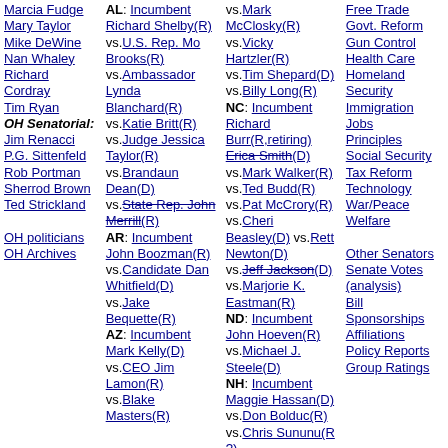Marcia Fudge Mary Taylor Mike DeWine Nan Whaley Richard Cordray Tim Ryan OH Senatorial: Jim Renacci P.G. Sittenfeld Rob Portman Sherrod Brown Ted Strickland OH politicians OH Archives
AL: Incumbent Richard Shelby(R) vs.U.S. Rep. Mo Brooks(R) vs.Ambassador Lynda Blanchard(R) vs.Katie Britt(R) vs.Judge Jessica Taylor(R) vs.Brandaun Dean(D) vs.State Rep. John Merrill(R) AR: Incumbent John Boozman(R) vs.Candidate Dan Whitfield(D) vs.Jake Bequette(R) AZ: Incumbent Mark Kelly(D) vs.CEO Jim Lamon(R) vs.Blake Masters(R)
vs.Mark McClosky(R) vs.Vicky Hartzler(R) vs.Tim Shepard(D) vs.Billy Long(R) NC: Incumbent Richard Burr(R,retiring) Erica Smith(D) vs.Mark Walker(R) vs.Ted Budd(R) vs.Pat McCrory(R) vs.Cheri Beasley(D) vs.Rett Newton(D) vs.Jeff Jackson(D) vs.Marjorie K. Eastman(R) ND: Incumbent John Hoeven(R) vs.Michael J. Steele(D) NH: Incumbent Maggie Hassan(D) vs.Don Bolduc(R) vs.Chris Sununu(R?) NV: Incumbent Catherine Cortez Masto(D)
Free Trade Govt. Reform Gun Control Health Care Homeland Security Immigration Jobs Principles Social Security Tax Reform Technology War/Peace Welfare Other Senators Senate Votes (analysis) Bill Sponsorships Affiliations Policy Reports Group Ratings